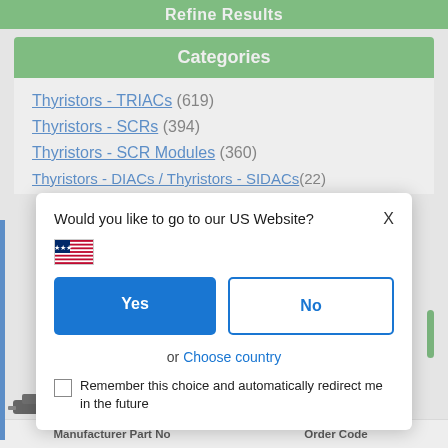Refine Results
Categories
Thyristors - TRIACs (619)
Thyristors - SCRs (394)
Thyristors - SCR Modules (360)
Thyristors - DIACs / Thyristors - SIDACs (22)
Would you like to go to our US Website?
Yes
No
or Choose country
Remember this choice and automatically redirect me in the future
Manufacturer Part No   Order Code